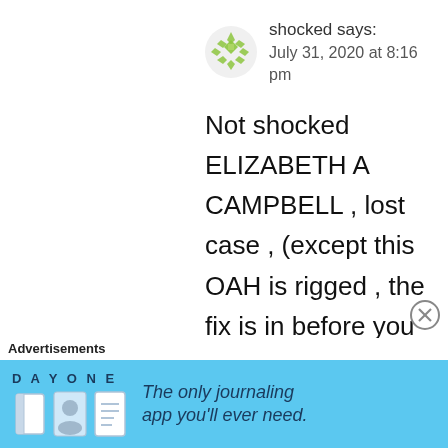[Figure (logo): Green geometric snowflake/diamond pattern avatar icon for user 'shocked']
shocked says:
July 31, 2020 at 8:16 pm
Not shocked ELIZABETH A CAMPBELL , lost case , (except this OAH is rigged , the fix is in before you get there, most of the alj's are crooks liars and playing “judge” , a cardboard prop could do better . Otherwise she would lose
Advertisements
[Figure (screenshot): Day One journaling app advertisement banner with blue background, app icon, and text 'The only journaling app you'll ever need.']